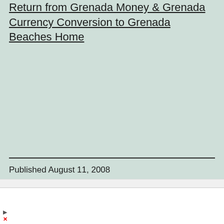Return from Grenada Money & Grenada Currency Conversion to Grenada Beaches Home
[Figure (screenshot): Tweet button with Twitter bird icon]
Published August 11, 2008
ooch
[Figure (infographic): Advertisement: Book a Same Day Appointment - Hair Cuttery, with HC logo and navigation arrow icon]